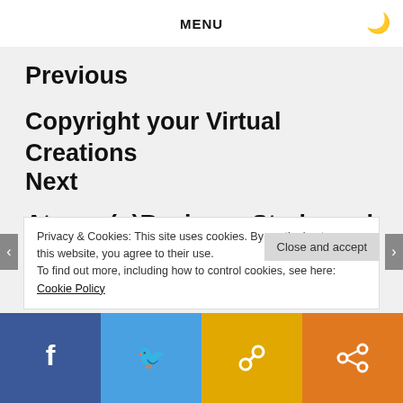MENU
Previous
Copyright your Virtual Creations
Next
Atomp (p)Reviews: Starbound [Chucklefish]
Privacy & Cookies: This site uses cookies. By continuing to use this website, you agree to their use.
To find out more, including how to control cookies, see here: Cookie Policy
Close and accept